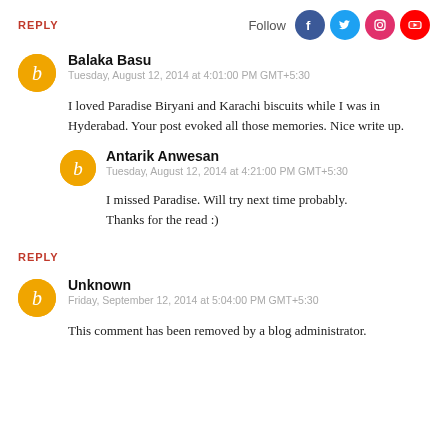REPLY
[Figure (logo): Follow with social media icons: Facebook, Twitter, Instagram, YouTube]
Balaka Basu
Tuesday, August 12, 2014 at 4:01:00 PM GMT+5:30
I loved Paradise Biryani and Karachi biscuits while I was in Hyderabad. Your post evoked all those memories. Nice write up.
Antarik Anwesan
Tuesday, August 12, 2014 at 4:21:00 PM GMT+5:30
I missed Paradise. Will try next time probably.
Thanks for the read :)
REPLY
Unknown
Friday, September 12, 2014 at 5:04:00 PM GMT+5:30
This comment has been removed by a blog administrator.